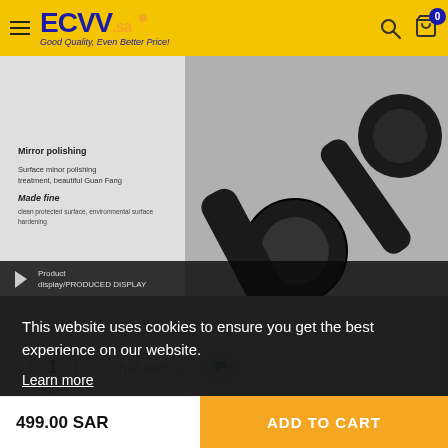[Figure (screenshot): ECVV.sa e-commerce website header with yellow background, hamburger menu, ECVV logo, search and cart icons]
[Figure (photo): Product image of black ring wrench / spanner tools on grey background with text overlay: Mirror polishing, Surface minor polishing treatment, beautiful Guan Fang, Made fine, clean protected surface, environmental surface hardening. Bottom label: Product display/PRODUCED DISPLAY]
This website uses cookies to ensure you get the best experience on our website.
Learn more
1
Chat with us
499.00 SAR
ADD TO CART